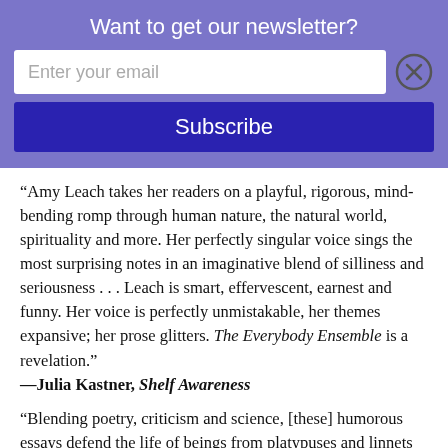Want to get our newsletter?
“Amy Leach takes her readers on a playful, rigorous, mind-bending romp through human nature, the natural world, spirituality and more. Her perfectly singular voice sings the most surprising notes in an imaginative blend of silliness and seriousness . . . Leach is smart, effervescent, earnest and funny. Her voice is perfectly unmistakable, her themes expansive; her prose glitters. The Everybody Ensemble is a revelation.” —Julia Kastner, Shelf Awareness
“Blending poetry, criticism and science, [these] humorous essays defend the life of beings from platypuses and linnets to photosynthetic bacteria.” —The New York Times Book Review
“[These] essays are short and amusing, with Leach’s